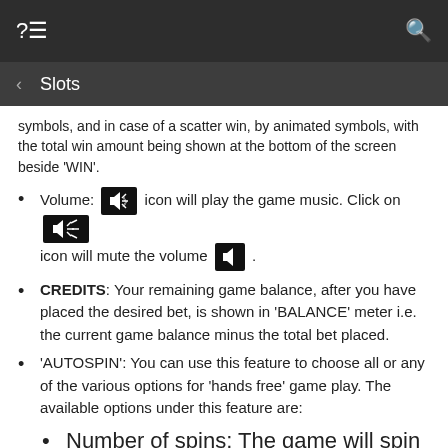?≡   Slots   🔍
symbols, and in case of a scatter win, by animated symbols, with the total win amount being shown at the bottom of the screen beside 'WIN'.
Volume: [icon] icon will play the game music. Click on [icon] icon will mute the volume [icon].
CREDITS: Your remaining game balance, after you have placed the desired bet, is shown in 'BALANCE' meter i.e. the current game balance minus the total bet placed.
'AUTOSPIN': You can use this feature to choose all or any of the various options for 'hands free' game play. The available options under this feature are:
Number of spins: The game will spin for the number of rotations selected from